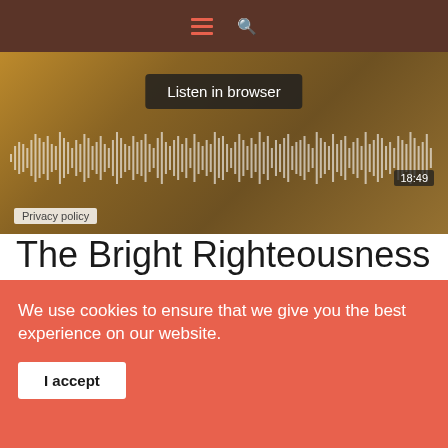[Figure (screenshot): Website header with hamburger menu icon in salmon/red color and search icon on dark brown background]
[Figure (screenshot): Audio player with 'Listen in browser' button, waveform visualization, 18:49 timer badge, and 'Privacy policy' label over a book background image]
The Bright Righteousness of Christ
We use cookies to ensure that we give you the best experience on our website.
I accept